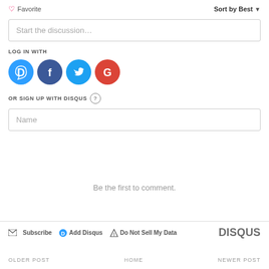♡ Favorite
Sort by Best ▼
Start the discussion…
LOG IN WITH
[Figure (illustration): Four social login icons: Disqus (blue circle with D), Facebook (dark blue circle with f), Twitter (blue circle with bird), Google (red circle with G)]
OR SIGN UP WITH DISQUS ?
Name
Be the first to comment.
Subscribe  Add Disqus  Do Not Sell My Data   DISQUS
OLDER POST   HOME   NEWER POST